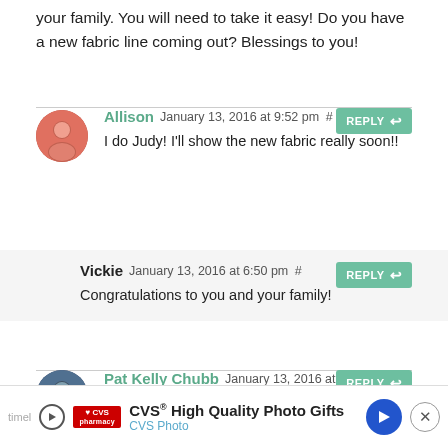your family. You will need to take it easy! Do you have a new fabric line coming out? Blessings to you!
Allison January 13, 2016 at 9:52 pm # — I do Judy! I'll show the new fabric really soon!!
Vickie January 13, 2016 at 6:50 pm # — Congratulations to you and your family!
Pat Kelly Chubb January 13, 2016 at 7:09 pm — Congrats! Happy Dance in ballet slippers and a tiara
[Figure (infographic): CVS High Quality Photo Gifts advertisement banner at the bottom of the page]